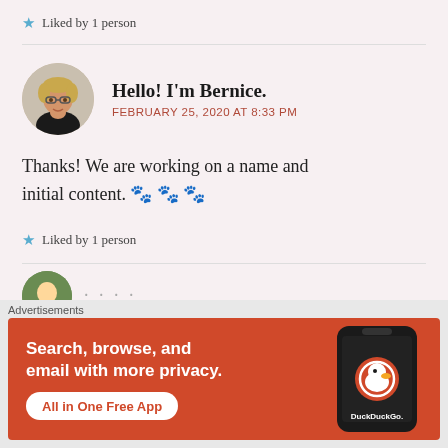Liked by 1 person
Hello! I'm Bernice. — FEBRUARY 25, 2020 AT 8:33 PM
Thanks! We are working on a name and initial content. 🐾🐾🐾
Liked by 1 person
[Figure (other): DuckDuckGo advertisement banner: Search, browse, and email with more privacy. All in One Free App. Shows phone with DuckDuckGo logo.]
Advertisements